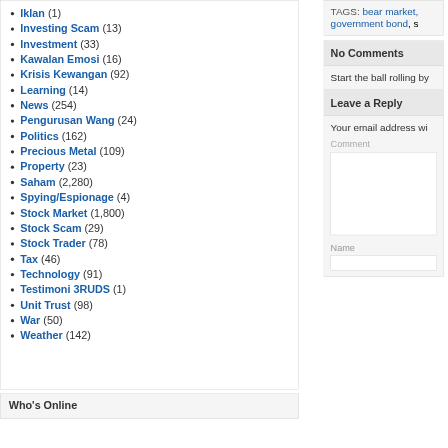Iklan (1)
Investing Scam (13)
Investment (33)
Kawalan Emosi (16)
Krisis Kewangan (92)
Learning (14)
News (254)
Pengurusan Wang (24)
Politics (162)
Precious Metal (109)
Property (23)
Saham (2,280)
Spying/Espionage (4)
Stock Market (1,800)
Stock Scam (29)
Stock Trader (78)
Tax (46)
Technology (91)
Testimoni 3RUDS (1)
Unit Trust (98)
War (50)
Weather (142)
Who's Online
TAGS: bear market, government bond, s
No Comments
Start the ball rolling by
Leave a Reply
Your email address wi
Comment
Name